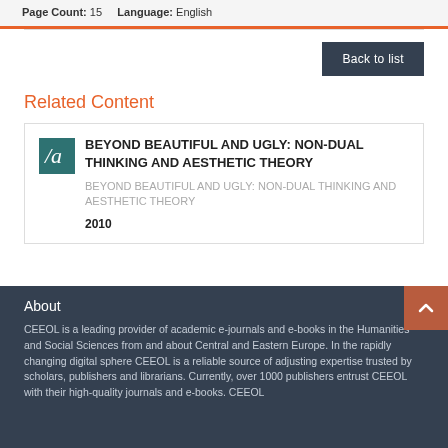Page Count: 15   Language: English
Back to list
Related Content
BEYOND BEAUTIFUL AND UGLY: NON-DUAL THINKING AND AESTHETIC THEORY
BEYOND BEAUTIFUL AND UGLY: NON-DUAL THINKING AND AESTHETIC THEORY
2010
About
CEEOL is a leading provider of academic e-journals and e-books in the Humanities and Social Sciences from and about Central and Eastern Europe. In the rapidly changing digital sphere CEEOL is a reliable source of adjusting expertise trusted by scholars, publishers and librarians. Currently, over 1000 publishers entrust CEEOL with their high-quality journals and e-books. CEEOL